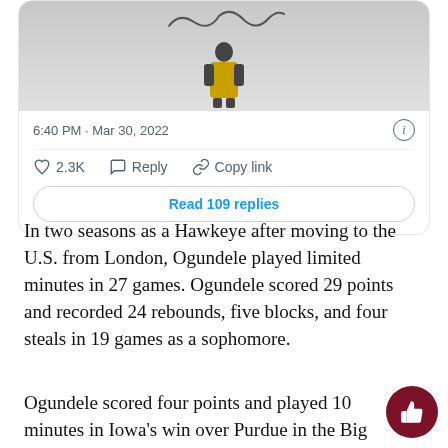[Figure (screenshot): Tweet card showing a player photo with signature, timestamp 6:40 PM · Mar 30, 2022, like count 2.3K, Reply, Copy link actions, and Read 109 replies button]
In two seasons as a Hawkeye after moving to the U.S. from London, Ogundele played limited minutes in 27 games. Ogundele scored 29 points and recorded 24 rebounds, five blocks, and four steals in 19 games as a sophomore.
Ogundele scored four points and played 10 minutes in Iowa's win over Purdue in the Big Ten Tournament Championship Game